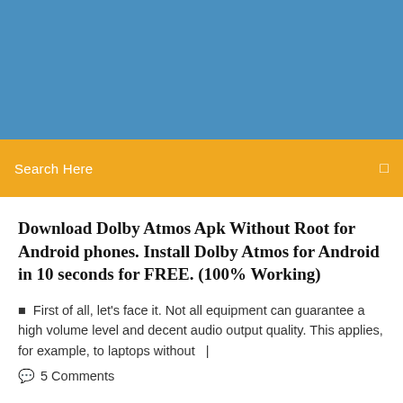[Figure (other): Blue header banner background]
Search Here
Download Dolby Atmos Apk Without Root for Android phones. Install Dolby Atmos for Android in 10 seconds for FREE. (100% Working)
First of all, let's face it. Not all equipment can guarantee a high volume level and decent audio output quality. This applies, for example, to laptops without  |
5 Comments